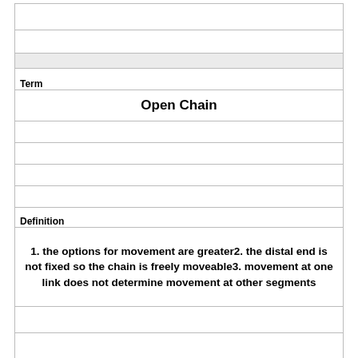|  |
|  |
|  |
| Term |
| Open Chain |
|  |
|  |
|  |
|  |
| Definition |
| 1. the options for movement are greater2. the distal end is not fixed so the chain is freely moveable3. movement at one link does not determine movement at other segments |
|  |
|  |